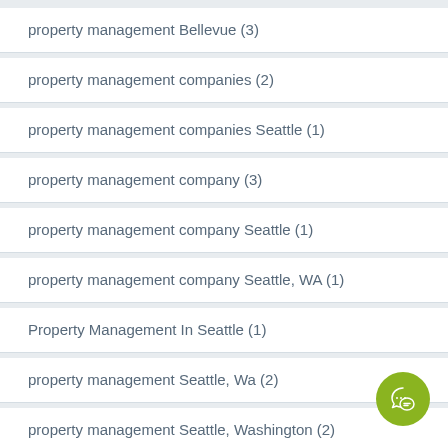property management Bellevue (3)
property management companies (2)
property management companies Seattle (1)
property management company (3)
property management company Seattle (1)
property management company Seattle, WA (1)
Property Management In Seattle (1)
property management Seattle, Wa (2)
property management Seattle, Washington (2)
Property Management Services (10)
Property Management System (1)